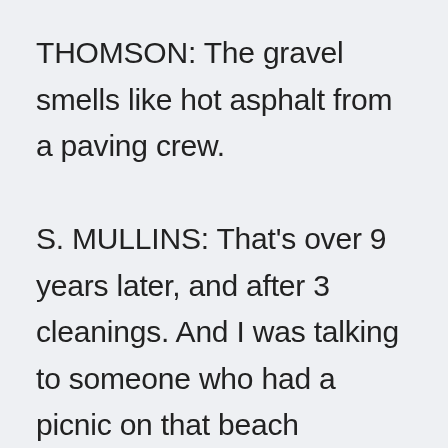THOMSON: The gravel smells like hot asphalt from a paving crew. S. MULLINS: That's over 9 years later, and after 3 cleanings. And I was talking to someone who had a picnic on that beach